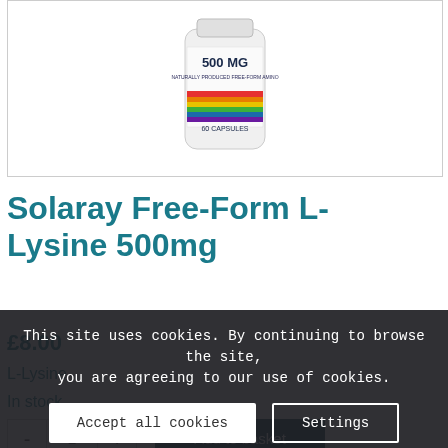[Figure (photo): Supplement bottle labeled '500 MG, NATURALLY PRODUCED FREE-FORM AMINO, 60 CAPSULES' with a rainbow stripe design, white bottle partially cropped.]
Solaray Free-Form L-Lysine 500mg
£8.00
L-Lysine
In stock
This site uses cookies. By continuing to browse the site, you are agreeing to our use of cookies.
Accept all cookies
Settings